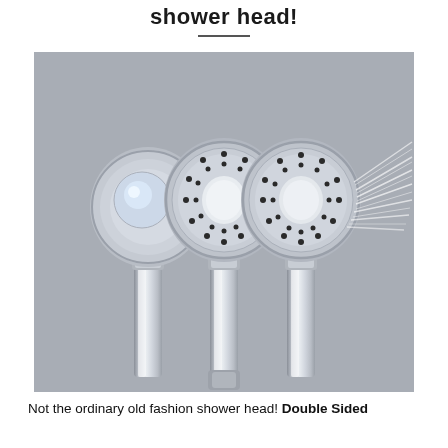shower head!
[Figure (photo): Three chrome handheld shower heads displayed side by side against a grey background. The left one faces away showing the back, the middle one faces forward showing the spray nozzle face, and the right one faces forward and is actively spraying water in a fan pattern. All three have round heads with circular nozzle patterns and long chrome handles.]
Not the ordinary old fashion shower head! Double Sided